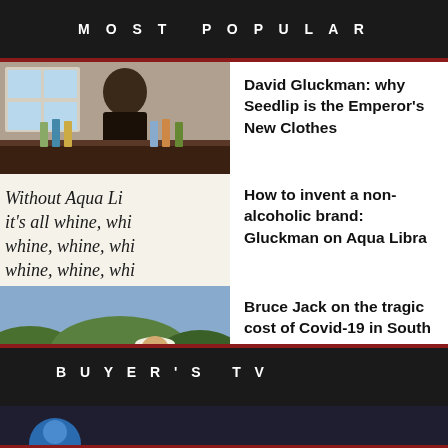MOST POPULAR
[Figure (photo): Man in waistcoat behind a bar pouring drinks]
David Gluckman: why Seedlip is the Emperor's New Clothes
[Figure (photo): Handwritten italic calligraphy text: Without Aqua Libra it's all whine, whine, whine, whine, whine, whine, whine, whine, whi]
How to invent a non-alcoholic brand: Gluckman on Aqua Libra
[Figure (photo): Man in white hat standing in front of a vineyard]
Bruce Jack on the tragic cost of Covid-19 in South Africa
BUYER'S TV